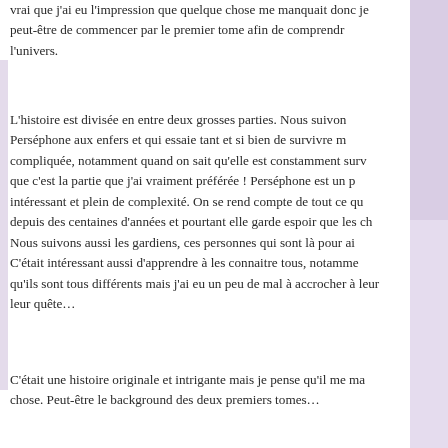vrai que j'ai eu l'impression que quelque chose me manquait donc je peut-être de commencer par le premier tome afin de comprendre l'univers.
L'histoire est divisée en entre deux grosses parties. Nous suivons Perséphone aux enfers et qui essaie tant et si bien de survivre mais compliquée, notamment quand on sait qu'elle est constamment surv… que c'est la partie que j'ai vraiment préférée ! Perséphone est un p… intéressant et plein de complexité. On se rend compte de tout ce qu depuis des centaines d'années et pourtant elle garde espoir que les ch… Nous suivons aussi les gardiens, ces personnes qui sont là pour ai… C'était intéressant aussi d'apprendre à les connaitre tous, notamme… qu'ils sont tous différents mais j'ai eu un peu de mal à accrocher à leur leur quête…
C'était une histoire originale et intrigante mais je pense qu'il me ma… chose. Peut-être le background des deux premiers tomes…